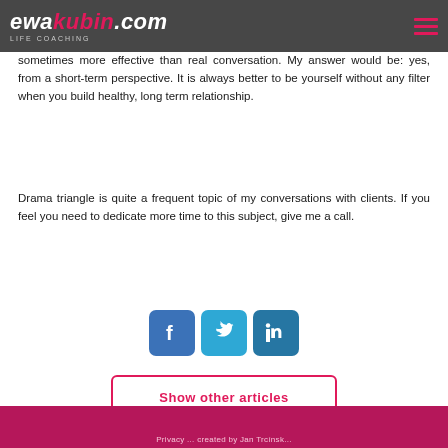ewakubin.com LIFE COACHING
sometimes more effective than real conversation. My answer would be: yes, from a short-term perspective. It is always better to be yourself without any filter when you build healthy, long term relationship.
Drama triangle is quite a frequent topic of my conversations with clients. If you feel you need to dedicate more time to this subject, give me a call.
[Figure (other): Social media share icons: Facebook (blue), Twitter (light blue), LinkedIn (dark blue)]
Show other articles
Privacy ... created by Jan Trcínsk...